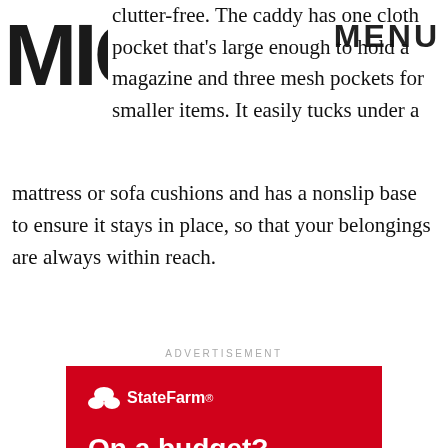MIC | MENU
clutter-free. The caddy has one cloth pocket that's large enough to hold a magazine and three mesh pockets for smaller items. It easily tucks under a mattress or sofa cushions and has a nonslip base to ensure it stays in place, so that your belongings are always within reach.
ADVERTISEMENT
[Figure (other): State Farm advertisement on red background. Logo: State Farm. Text: On a budget? We've got policy options.]